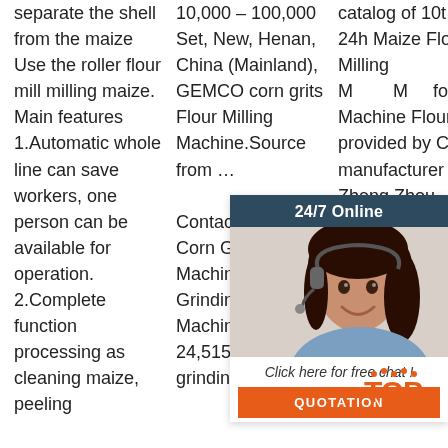separate the shell from the maize Use the roller flour mill milling maize. Main features 1.Automatic whole line can save workers, one person can be available for operation. 2.Complete function processing as cleaning maize, peeling
10,000 – 100,000 Set, New, Henan, China (Mainland), GEMCO corn grits Flour Milling Machine.Source from … Contact Detail Corn Grinding Mill Machine, Corn Grinding Mill Machine ... offers 24,515 corn grinding
catalog of 10t Per 24h Maize Flour Milling Machine Milling Machine for G Q U P Fl M Milling Machine Flour provided by China manufacturer - Zheng Zhou
[Figure (photo): Chat widget overlay with agent photo, '24/7 Online' header, 'Click here for free chat!' text, and orange QUOTATION button]